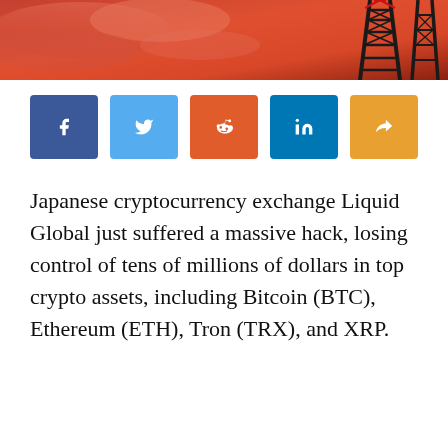[Figure (photo): Hero image showing a red/orange sky background with a communications or electrical tower structure visible in the upper right corner.]
[Figure (infographic): Row of five social media share buttons: Facebook (blue), Twitter (light blue), Reddit (orange), LinkedIn (teal/blue), and a share button (orange/amber).]
Japanese cryptocurrency exchange Liquid Global just suffered a massive hack, losing control of tens of millions of dollars in top crypto assets, including Bitcoin (BTC), Ethereum (ETH), Tron (TRX), and XRP.